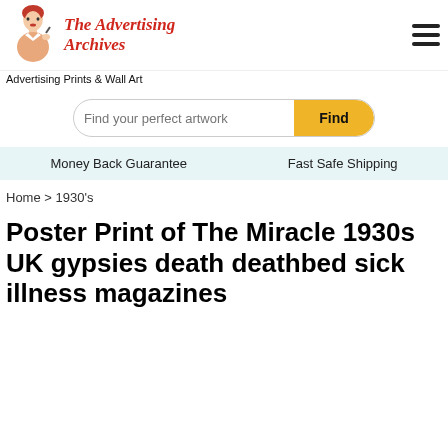[Figure (logo): The Advertising Archives logo with a vintage woman illustration and red italic script text]
Advertising Prints & Wall Art
Find your perfect artwork
Money Back Guarantee    Fast Safe Shipping
Home > 1930's
Poster Print of The Miracle 1930s UK gypsies death deathbed sick illness magazines